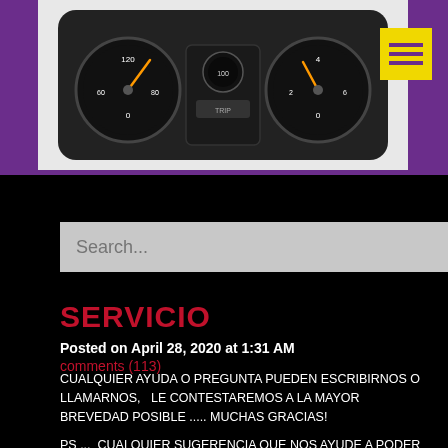[Figure (photo): Car dashboard/instrument cluster panel with speedometer and gauges, on a purple background with a yellow hamburger menu button in the top right]
Search...
SERVICIO
Posted on April 28, 2020 at 1:31 AM
comments (113)
CUALQUIER AYUDA O PREGUNTA PUEDEN ESCRIBIRNOS O LLAMARNOS,   LE CONTESTAREMOS A LA MAYOR BREVEDAD POSIBLE ..... MUCHAS GRACIAS!
PS ...  CUALQUIER SUGERENCIA QUE NOS AYUDE A PODER BRINDAR UN MEJOR SERVICIO , SERA BIENVENIDA.... GRACIAS!